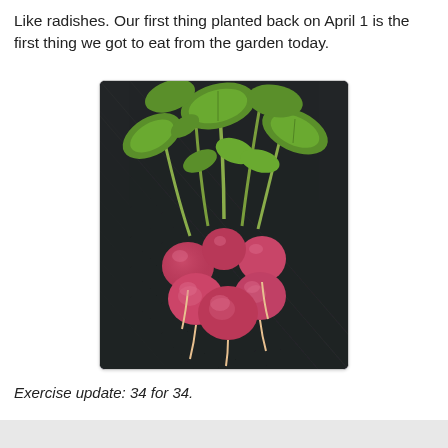Like radishes. Our first thing planted back on April 1 is the first thing we got to eat from the garden today.
[Figure (photo): A bunch of freshly harvested red radishes with green leafy tops, lying on a dark textured surface.]
Exercise update: 34 for 34.